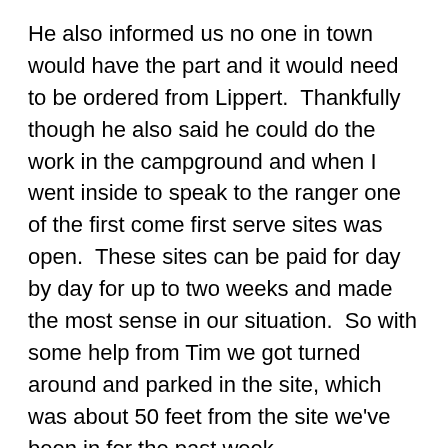He also informed us no one in town would have the part and it would need to be ordered from Lippert.  Thankfully though he also said he could do the work in the campground and when I went inside to speak to the ranger one of the first come first serve sites was open.  These sites can be paid for day by day for up to two weeks and made the most sense in our situation.  So with some help from Tim we got turned around and parked in the site, which was about 50 feet from the site we've been in for the past week.
Tim called the warranty company for us and thankfully there was no issue with him performing the service.  He did try to call Lippert, who in turn called Open Range but they would not cover it under manufacturer warranty even though it was so close to the end date.  It also turns out